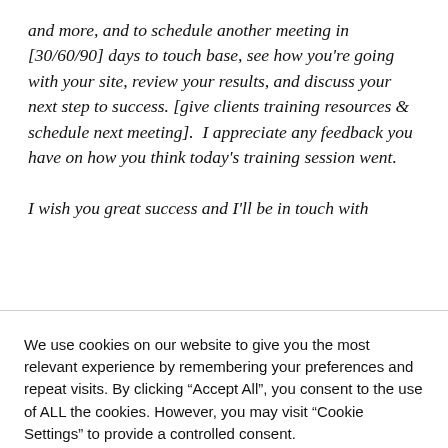and more, and to schedule another meeting in [30/60/90] days to touch base, see how you're going with your site, review your results, and discuss your next step to success. [give clients training resources & schedule next meeting].  I appreciate any feedback you have on how you think today's training session went.

I wish you great success and I'll be in touch with
We use cookies on our website to give you the most relevant experience by remembering your preferences and repeat visits. By clicking "Accept All", you consent to the use of ALL the cookies. However, you may visit "Cookie Settings" to provide a controlled consent.